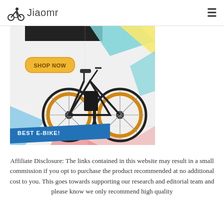Jiaomr
[Figure (illustration): E-bike product banner showing a fat-tire electric bicycle with orange rims on a colorful geometric background. Includes a yellow 'SHOP NOW' button and a blue ribbon banner reading 'BEST E-BIKE!']
Affiliate Disclosure: The links contained in this website may result in a small commission if you opt to purchase the product recommended at no additional cost to you. This goes towards supporting our research and editorial team and please know we only recommend high quality